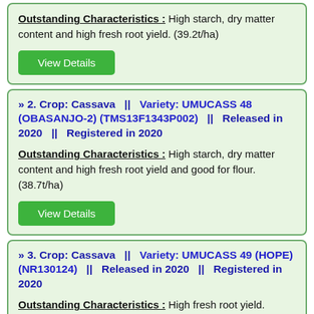Outstanding Characteristics : High starch, dry matter content and high fresh root yield. (39.2t/ha)
View Details
» 2. Crop: Cassava || Variety: UMUCASS 48 (OBASANJO-2) (TMS13F1343P002) || Released in 2020 || Registered in 2020
Outstanding Characteristics : High starch, dry matter content and high fresh root yield and good for flour. (38.7t/ha)
View Details
» 3. Crop: Cassava || Variety: UMUCASS 49 (HOPE) (NR130124) || Released in 2020 || Registered in 2020
Outstanding Characteristics : High fresh root yield.